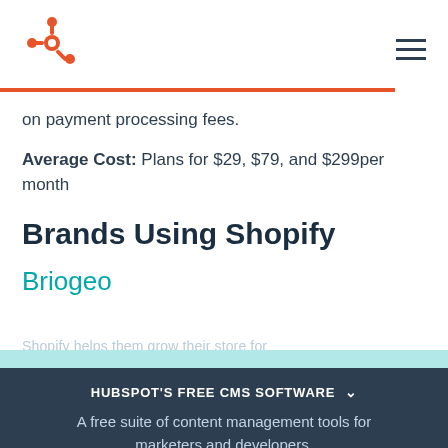HubSpot logo and navigation
on payment processing fees.
Average Cost: Plans for $29, $79, and $299per month
Brands Using Shopify
Briogeo
HUBSPOT'S FREE CMS SOFTWARE
A free suite of content management tools for marketers and developers.
LEARN MORE